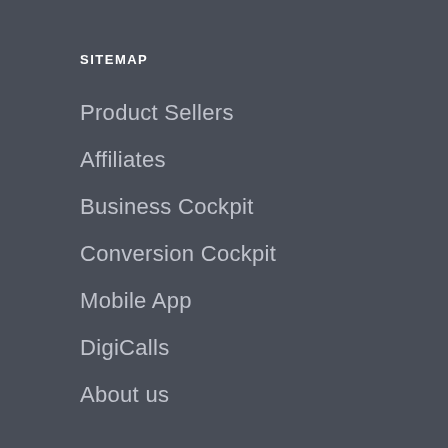SITEMAP
Product Sellers
Affiliates
Business Cockpit
Conversion Cockpit
Mobile App
DigiCalls
About us
Press
Contact
Jobs Hiring
Find my order
Register